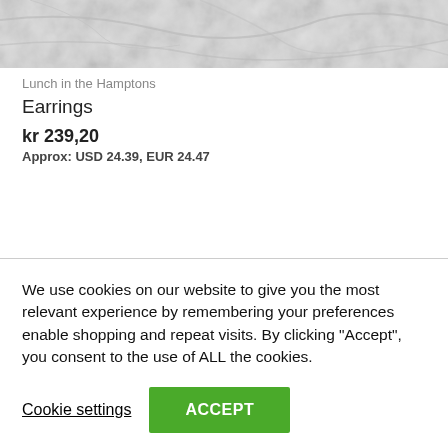[Figure (photo): Product photo showing a marble or fur-like light grey texture surface]
Lunch in the Hamptons
Earrings
kr 239,20
Approx: USD 24.39, EUR 24.47
Add to cart
We use cookies on our website to give you the most relevant experience by remembering your preferences enable shopping and repeat visits. By clicking “Accept”, you consent to the use of ALL the cookies.
Cookie settings
ACCEPT